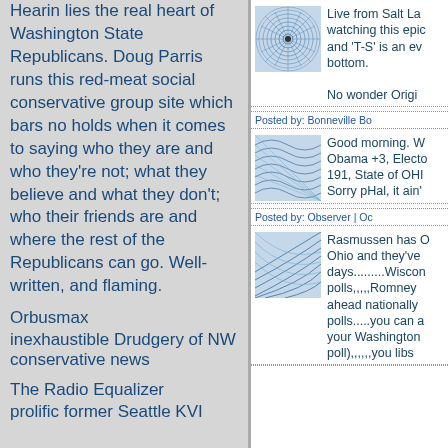Hearin lies the real heart of Washington State Republicans. Doug Parris runs this red-meat social conservative group site which bars no holds when it comes to saying who they are and who they're not; what they believe and what they don't; who their friends are and where the rest of the Republicans can go. Well-written, and flaming.
Orbusmax inexhaustible Drudgery of NW conservative news
The Radio Equalizer prolific former Seattle KVI
[Figure (illustration): Circular spiral/mandala thumbnail image in blue tones]
Live from Salt La watching this epic and 'T-S' is an ev bottom.
No wonder Origi
Posted by: Bonneville Bo
[Figure (illustration): Blue geometric wave/grid pattern thumbnail]
Good morning. W Obama +3, Electo 191, State of OHI Sorry pHal, it ain'
Posted by: Observer | Oc
[Figure (illustration): Blue curved lines pattern thumbnail]
Rasmussen has 0 Ohio and they've days.........Wiscon polls,,,,,Romney ahead nationally polls.....you can a your Washington poll),,,,,,you libs